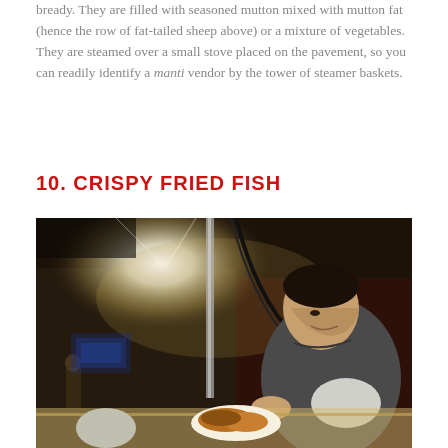bready. They are filled with seasoned mutton mixed with mutton fat (hence the row of fat-tailed sheep above) or a mixture of vegetables. They are steamed over a small stove placed on the pavement, so you can readily identify a manti vendor by the tower of steamer baskets.
10. CRISPY FRIED FISH
[Figure (photo): A young man with dark hair wearing a grey long-sleeve shirt leans over a food stall counter, looking down at fried fish and food on a plate. A bright light source is visible in the upper left area. The scene is a night market or street food stall setting with warm ambient tones.]